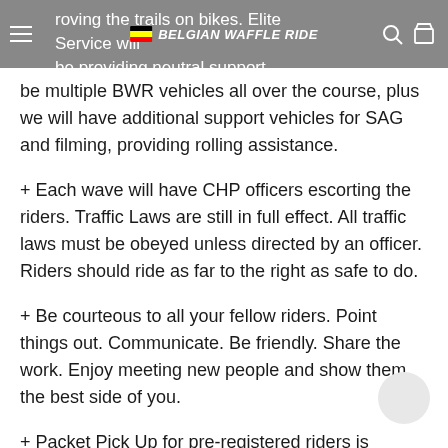roving the trails on bikes. Elite Service will be providing neutral support on the roads. There will | BELGIAN WAFFLE RIDE
be multiple BWR vehicles all over the course, plus we will have additional support vehicles for SAG and filming, providing rolling assistance.
+ Each wave will have CHP officers escorting the riders. Traffic Laws are still in full effect. All traffic laws must be obeyed unless directed by an officer. Riders should ride as far to the right as safe to do.
+ Be courteous to all your fellow riders. Point things out. Communicate. Be friendly. Share the work. Enjoy meeting new people and show them the best side of you.
+ Packet Pick Up for pre-registered riders is